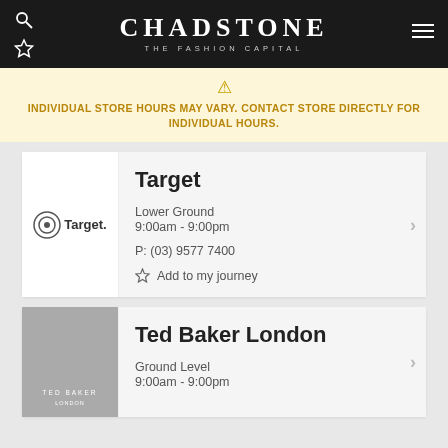CHADSTONE THE FASHION CAPITAL
INDIVIDUAL STORE HOURS MAY VARY. CONTACT STORE DIRECTLY FOR INDIVIDUAL HOURS.
Target
Lower Ground
9:00am - 9:00pm
P: (03) 9577 7400
Add to my journey
Ted Baker London
Ground Level
9:00am - 9:00pm